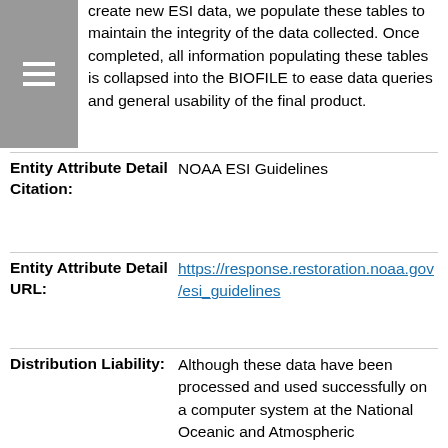create new ESI data, we populate these tables to maintain the integrity of the data collected. Once completed, all information populating these tables is collapsed into the BIOFILE to ease data queries and general usability of the final product.
Entity Attribute Detail Citation: NOAA ESI Guidelines
Entity Attribute Detail URL: https://response.restoration.noaa.gov/esi_guidelines
Distribution Liability: Although these data have been processed and used successfully on a computer system at the National Oceanic and Atmospheric Administration, no warranty, expressed or implied, is